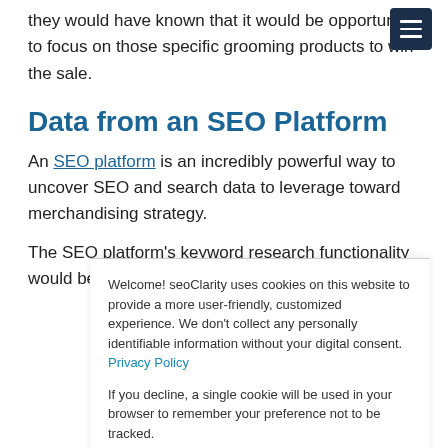they would have known that it would be opportune to focus on those specific grooming products to win the sale.
Data from an SEO Platform
An SEO platform is an incredibly powerful way to uncover SEO and search data to leverage toward merchandising strategy.
The SEO platform's keyword research functionality would be a
Welcome! seoClarity uses cookies on this website to provide a more user-friendly, customized experience. We don't collect any personally identifiable information without your digital consent. Privacy Policy
If you decline, a single cookie will be used in your browser to remember your preference not to be tracked.